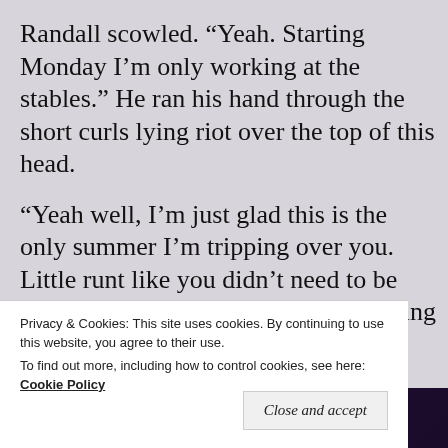Randall scowled. “Yeah. Starting Monday I’m only working at the stables.” He ran his hand through the short curls lying riot over the top of this head.
“Yeah well, I’m just glad this is the only summer I’m tripping over you. Little runt like you didn’t need to be there anyway. You’re better off working for Willie. You
Privacy & Cookies: This site uses cookies. By continuing to use this website, you agree to their use.
To find out more, including how to control cookies, see here: Cookie Policy
Close and accept